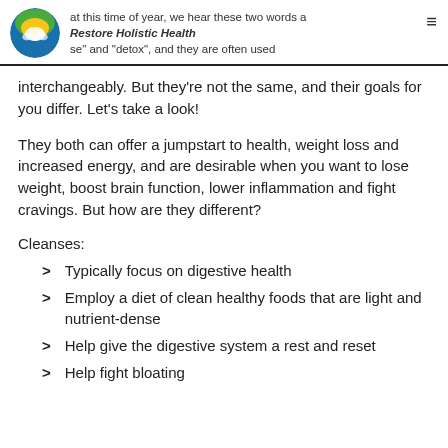at this time of year, we hear these two words a se" and "detox", and they are often used — Restore Holistic Health
interchangeably. But they're not the same, and their goals for you differ. Let's take a look!
They both can offer a jumpstart to health, weight loss and increased energy, and are desirable when you want to lose weight, boost brain function, lower inflammation and fight cravings. But how are they different?
Cleanses:
Typically focus on digestive health
Employ a diet of clean healthy foods that are light and nutrient-dense
Help give the digestive system a rest and reset
Help fight bloating